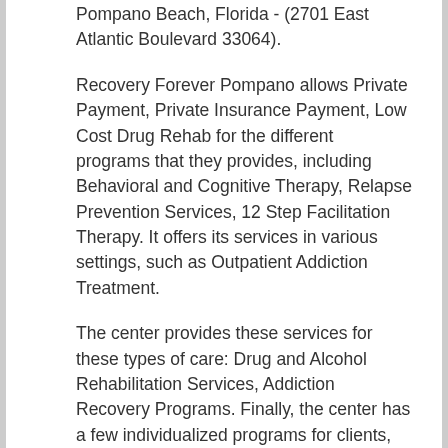Pompano Beach, Florida - (2701 East Atlantic Boulevard 33064).
Recovery Forever Pompano allows Private Payment, Private Insurance Payment, Low Cost Drug Rehab for the different programs that they provides, including Behavioral and Cognitive Therapy, Relapse Prevention Services, 12 Step Facilitation Therapy. It offers its services in various settings, such as Outpatient Addiction Treatment.
The center provides these services for these types of care: Drug and Alcohol Rehabilitation Services, Addiction Recovery Programs. Finally, the center has a few individualized programs for clients, like